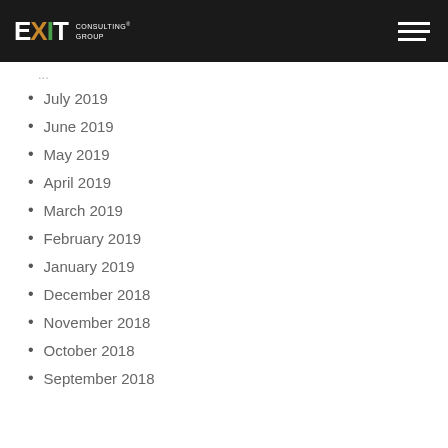EXIT CONSULTING GROUP
July 2019
June 2019
May 2019
April 2019
March 2019
February 2019
January 2019
December 2018
November 2018
October 2018
September 2018